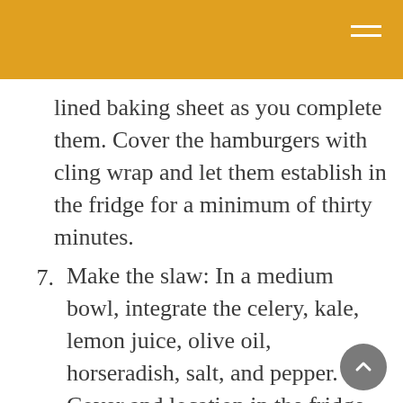lined baking sheet as you complete them. Cover the hamburgers with cling wrap and let them establish in the fridge for a minimum of thirty minutes.
7. Make the slaw: In a medium bowl, integrate the celery, kale, lemon juice, olive oil, horseradish, salt, and pepper. Cover and location in the fridge till prepared to serve.
8. Make the hamburger sauce: In a little bowl, blend together the catsup, mayo, horseradish, and lemon juice. Cover and location in the fridge till prepared to